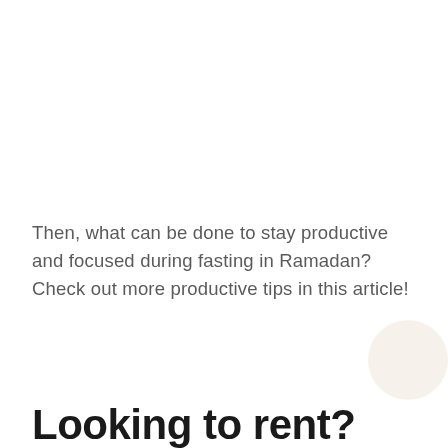Then, what can be done to stay productive and focused during fasting in Ramadan? Check out more productive tips in this article!
Looking to rent?